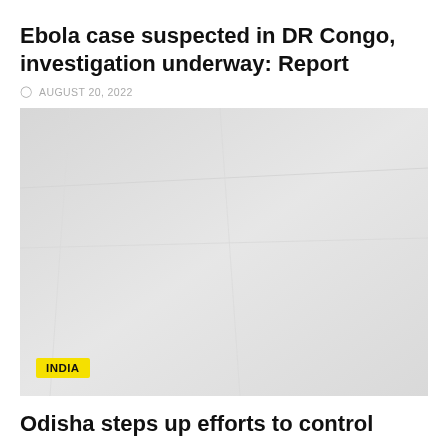Ebola case suspected in DR Congo, investigation underway: Report
AUGUST 20, 2022
[Figure (photo): A washed-out, faded photograph with very low contrast showing an outdoor scene, with an INDIA label badge in the lower left corner]
Odisha steps up efforts to control